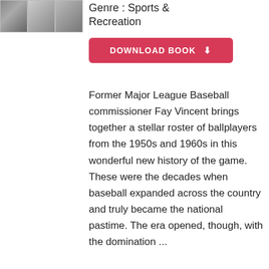[Figure (illustration): Three baseball card book cover thumbnail images side by side]
Genre : Sports & Recreation
DOWNLOAD BOOK
Former Major League Baseball commissioner Fay Vincent brings together a stellar roster of ballplayers from the 1950s and 1960s in this wonderful new history of the game. These were the decades when baseball expanded across the country and truly became the national pastime. The era opened, though, with the domination ...